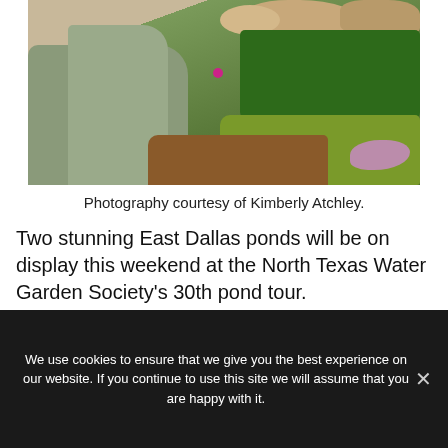[Figure (photo): Garden photo showing various green plants, silver-green foliage on the left, a neatly trimmed dark green hedge on the right, rocks at the top, a pink flower in the center, and purple flowers at lower right, with brown mulch ground cover.]
Photography courtesy of Kimberly Atchley.
Two stunning East Dallas ponds will be on display this weekend at the North Texas Water Garden Society's 30th pond tour.
We use cookies to ensure that we give you the best experience on our website. If you continue to use this site we will assume that you are happy with it.